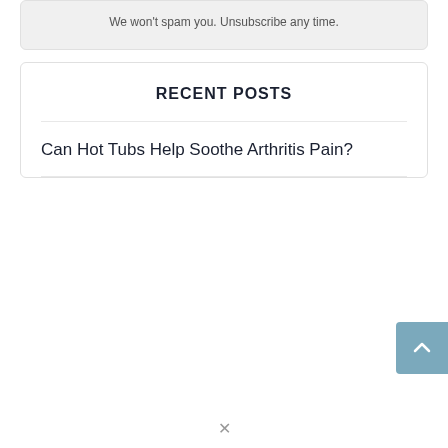We won't spam you. Unsubscribe any time.
RECENT POSTS
Can Hot Tubs Help Soothe Arthritis Pain?